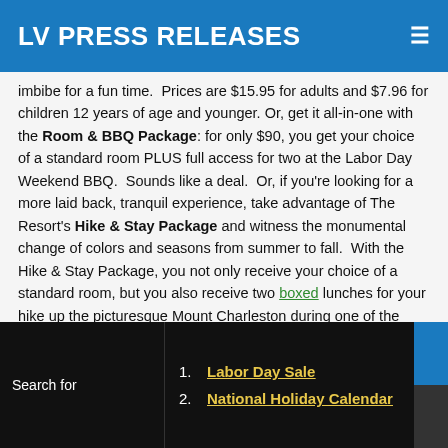LV PRESS RELEASES
imbibe for a fun time.  Prices are $15.95 for adults and $7.96 for children 12 years of age and younger. Or, get it all-in-one with the Room & BBQ Package: for only $90, you get your choice of a standard room PLUS full access for two at the Labor Day Weekend BBQ.  Sounds like a deal.  Or, if you're looking for a more laid back, tranquil experience, take advantage of The Resort's Hike & Stay Package and witness the monumental change of colors and seasons from summer to fall.  With the Hike & Stay Package, you not only receive your choice of a standard room, but you also receive two boxed lunches for your hike up the picturesque Mount Charleston during one of the most beautiful times of the year.  Celebrate heartily for Labor Day, or watch the mountain turn orange for September at The Resort on Mount Charleston.
1. Labor Day Sale
2. National Holiday Calendar